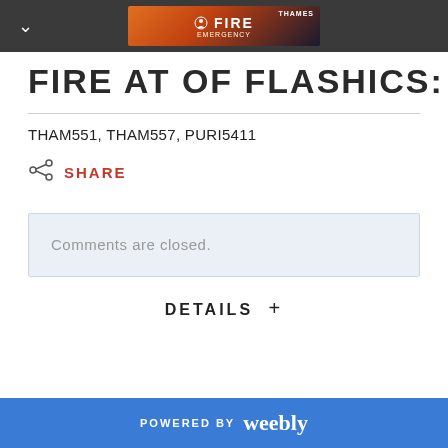[Figure (screenshot): Dark top navigation bar with a chevron/down arrow icon on the left and a Fire Emergency advertisement banner in the center featuring Thames branding]
FIRE AT OF FLASHICS:
THAM551, THAM557, PURI5411
SHARE
Comments are closed.
DETAILS +
POWERED BY weebly